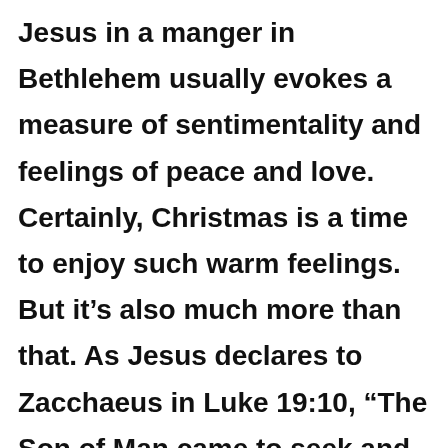Jesus in a manger in Bethlehem usually evokes a measure of sentimentality and feelings of peace and love. Certainly, Christmas is a time to enjoy such warm feelings. But it's also much more than that. As Jesus declares to Zacchaeus in Luke 19:10, “The Son of Man came to seek and to save the lost.”

Christmas had as its goal Good Friday,